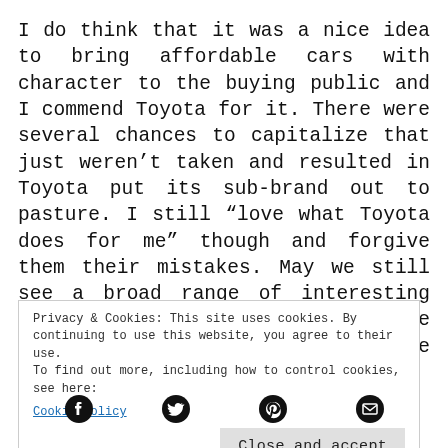I do think that it was a nice idea to bring affordable cars with character to the buying public and I commend Toyota for it. There were several chances to capitalize that just weren't taken and resulted in Toyota put its sub-brand out to pasture. I still “love what Toyota does for me” though and forgive them their mistakes. May we still see a broad range of interesting and affordable products in the United States and abroad under the Toyota badge.
Privacy & Cookies: This site uses cookies. By continuing to use this website, you agree to their use.
To find out more, including how to control cookies, see here:
Cookie Policy
[Figure (other): Social sharing icons: Facebook, Twitter, Pinterest, Email]